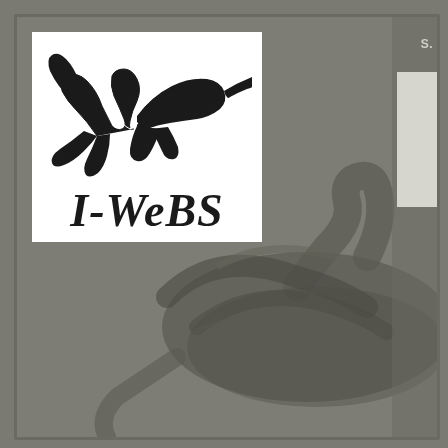[Figure (photo): Background photograph of a large bird (swan or similar waterbird) in muted grey-brown tones, partially obscured by the I-WeBS logo overlay. The background fills the entire page.]
[Figure (logo): I-WeBS logo: white square box containing a black silhouette of two wading birds in flight (resembling curlews or similar shorebirds) above the italic bold text 'I-WeBS']